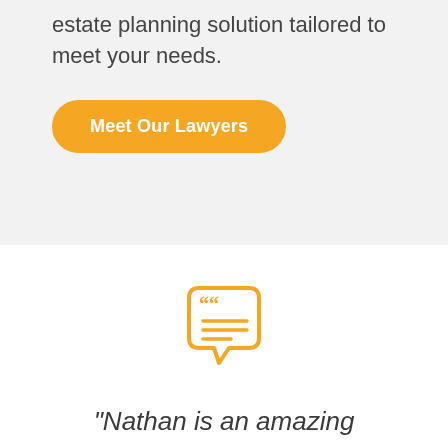estate planning solution tailored to meet your needs.
Meet Our Lawyers
[Figure (illustration): Orange speech bubble icon with quotation marks and horizontal lines representing text inside]
“Nathan is an amazing